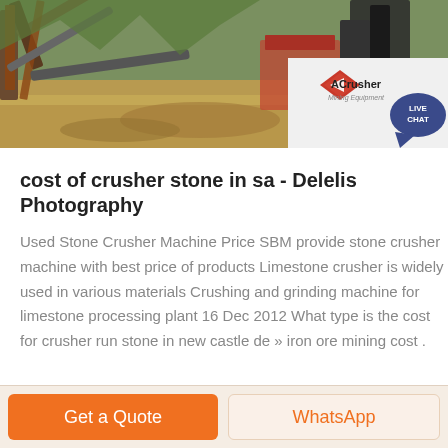[Figure (photo): A mining/quarry site with large industrial crushing machinery and conveyor belts, with an ACrusher Mining Equipment logo overlay in the bottom right and a Live Chat bubble.]
cost of crusher stone in sa - Delelis Photography
Used Stone Crusher Machine Price SBM provide stone crusher machine with best price of products Limestone crusher is widely used in various materials Crushing and grinding machine for limestone processing plant 16 Dec 2012 What type is the cost for crusher run stone in new castle de » iron ore mining cost .
Get a Quote   WhatsApp